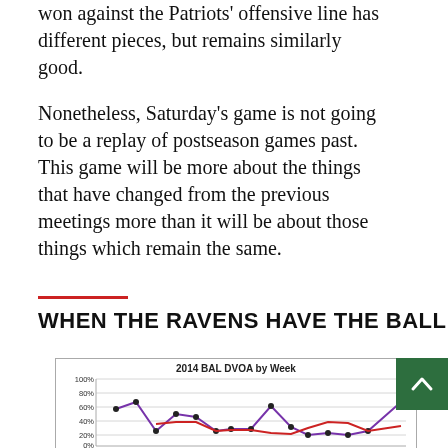won against the Patriots' offensive line has different pieces, but remains similarly good.
Nonetheless, Saturday's game is not going to be a replay of postseason games past. This game will be more about the things that have changed from the previous meetings more than it will be about those things which remain the same.
WHEN THE RAVENS HAVE THE BALL
[Figure (line-chart): 2014 BAL DVOA by Week]